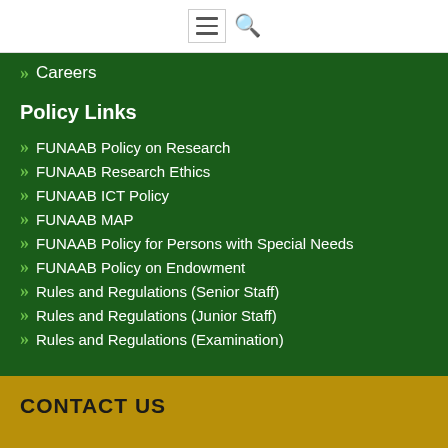Navigation menu and search icon
Careers
Policy Links
FUNAAB Policy on Research
FUNAAB Research Ethics
FUNAAB ICT Policy
FUNAAB MAP
FUNAAB Policy for Persons with Special Needs
FUNAAB Policy on Endowment
Rules and Regulations (Senior Staff)
Rules and Regulations (Junior Staff)
Rules and Regulations (Examination)
CONTACT US